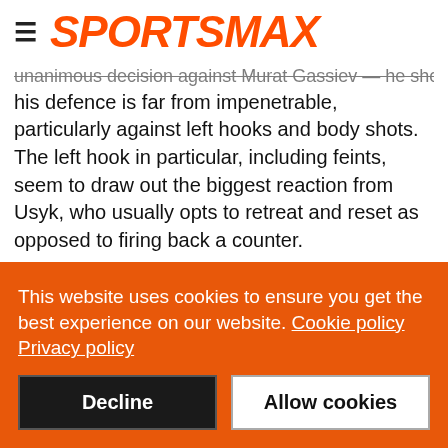SPORTSMAX
unanimous decision against Murat Gassiev — he showed his defence is far from impenetrable, particularly against left hooks and body shots. The left hook in particular, including feints, seem to draw out the biggest reaction from Usyk, who usually opts to retreat and reset as opposed to firing back a counter.
He is also far from a quick-starter, instead opting to remain relatively cautious through the opening few rounds as he measures his distance and timing, before increasing
This website uses cookies to ensure you get the best experience on our website. Cookie policy Privacy policy
Decline
Allow cookies